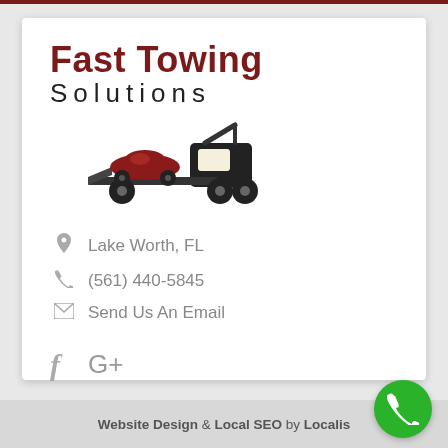[Figure (logo): Fast Towing Solutions logo with tow truck silhouette carrying a red car]
Lake Worth, FL
(561) 440-5845
Send Us An Email
f  G+
Website Design & Local SEO by Localis